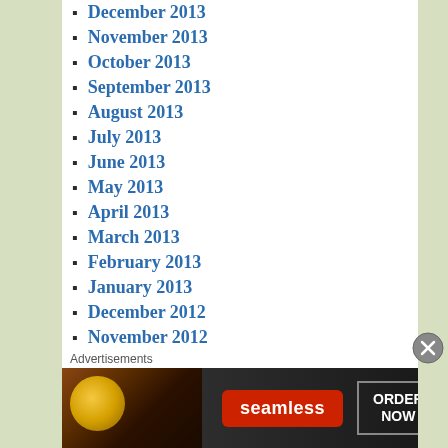December 2013
November 2013
October 2013
September 2013
August 2013
July 2013
June 2013
May 2013
April 2013
March 2013
February 2013
January 2013
December 2012
November 2012
October 2012
September 2012
August 2012
July 2012
Advertisements
[Figure (other): Seamless food delivery advertisement banner with pizza image, Seamless logo, and ORDER NOW button]